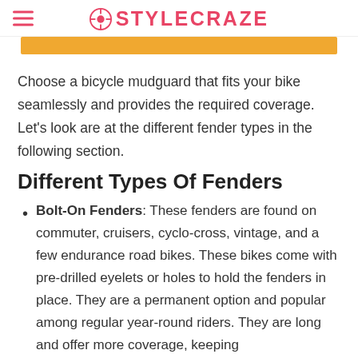STYLECRAZE
[Figure (other): Orange/yellow horizontal banner image (partially visible)]
Choose a bicycle mudguard that fits your bike seamlessly and provides the required coverage. Let’s look are at the different fender types in the following section.
Different Types Of Fenders
Bolt-On Fenders: These fenders are found on commuter, cruisers, cyclo-cross, vintage, and a few endurance road bikes. These bikes come with pre-drilled eyelets or holes to hold the fenders in place. They are a permanent option and popular among regular year-round riders. They are long and offer more coverage, keeping